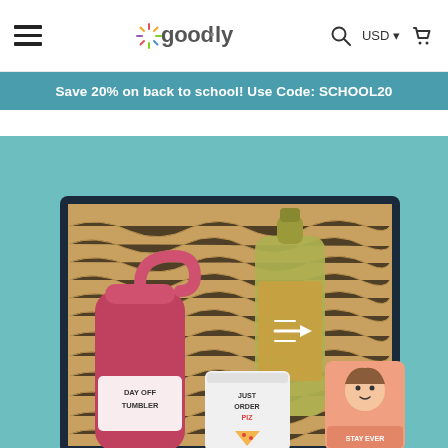good·ly — USD — navigation header with search and cart icons
Save 20% on back to school! Use Code: SCHOOL20
[Figure (photo): Gift box with brown crinkle paper filler containing a pink 'Day Off Tumbler' water bottle, a glass bottle with golden label and arrow logo, a 'Just Order Pizza' tin/card, and a peach-colored product with illustrated face graphic. Set against a teal/turquoise background.]